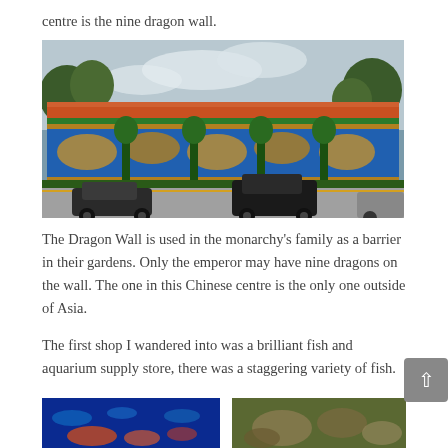centre is the nine dragon wall.
[Figure (photo): Photograph of the Nine Dragon Wall, a long decorative wall with blue tiles and golden dragon relief sculptures, traditional Chinese roof tiles on top, with cars parked in front on a street.]
The Dragon Wall is used in the monarchy's family as a barrier in their gardens. Only the emperor may have nine dragons on the wall. The one in this Chinese centre is the only one outside of Asia.
The first shop I wandered into was a brilliant fish and aquarium supply store, there was a staggering variety of fish.
[Figure (photo): Photo of an aquarium with bright blue water and fish/coral visible.]
[Figure (photo): Photo of fish or aquatic creatures in a tank.]